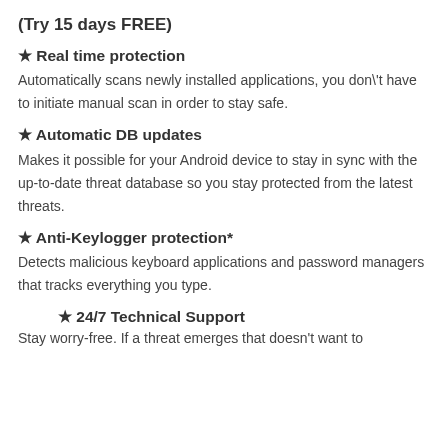(Try 15 days FREE)
★ Real time protection
Automatically scans newly installed applications, you don\'t have to initiate manual scan in order to stay safe.
★ Automatic DB updates
Makes it possible for your Android device to stay in sync with the up-to-date threat database so you stay protected from the latest threats.
★ Anti-Keylogger protection*
Detects malicious keyboard applications and password managers that tracks everything you type.
★ 24/7 Technical Support
Stay worry-free. If a threat emerges that doesn't want to